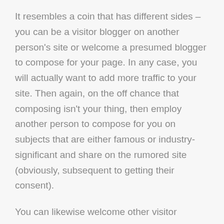It resembles a coin that has different sides – you can be a visitor blogger on another person's site or welcome a presumed blogger to compose for your page. In any case, you will actually want to add more traffic to your site. Then again, on the off chance that composing isn't your thing, then employ another person to compose for you on subjects that are either famous or industry-significant and share on the rumored site (obviously, subsequent to getting their consent).
You can likewise welcome other visitor bloggers to compose and share their substance on your site, as this will carry more perusers to your site. Regardless, you ought to zero in on sharing excellent substance, unique and not deceiving, as it can adversely influence your positioning.